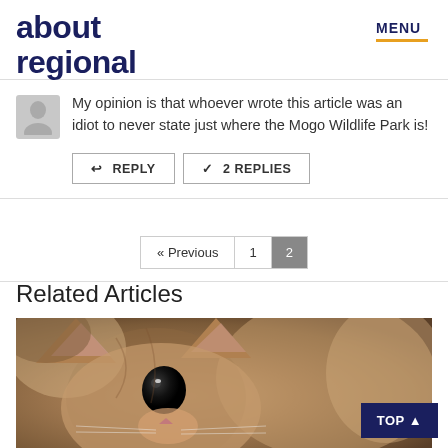about regional | MENU
My opinion is that whoever wrote this article was an idiot to never state just where the Mogo Wildlife Park is!
REPLY | 2 REPLIES
« Previous | 1 | 2
Related Articles
[Figure (photo): Close-up photo of a small kitten with brown/tabby fur and large dark eyes, held in someone's hands]